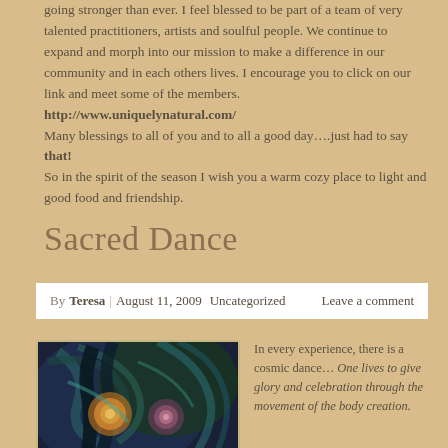going stronger than ever. I feel blessed to be part of a team of very talented practitioners, artists and soulful people. We continue to expand and morph into our mission to make a difference in our community and in each others lives. I encourage you to click on our link and meet some of the members. http://www.uniquelynatural.com/ Many blessings to all of you and to all a good day….just had to say that! So in the spirit of the season I wish you a warm cozy place to light and good food and friendship.
Sacred Dance
By Teresa | August 11, 2009 Uncategorized Leave a comment
[Figure (illustration): Painting of dancing figures with swirling dark and colorful tones, featuring circular spiral motifs in blues, greens, and warm oranges.]
In every experience, there is a cosmic dance… One lives to give glory and celebration through the movement of the body creation.